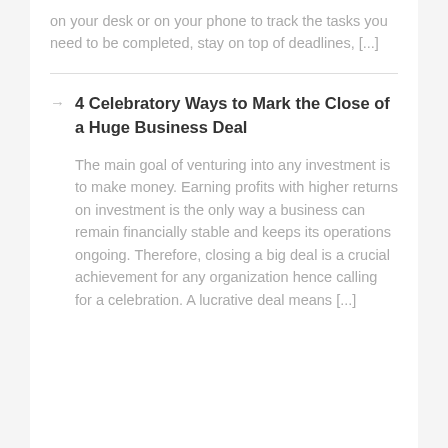on your desk or on your phone to track the tasks you need to be completed, stay on top of deadlines, [...]
4 Celebratory Ways to Mark the Close of a Huge Business Deal
The main goal of venturing into any investment is to make money. Earning profits with higher returns on investment is the only way a business can remain financially stable and keeps its operations ongoing. Therefore, closing a big deal is a crucial achievement for any organization hence calling for a celebration. A lucrative deal means [...]